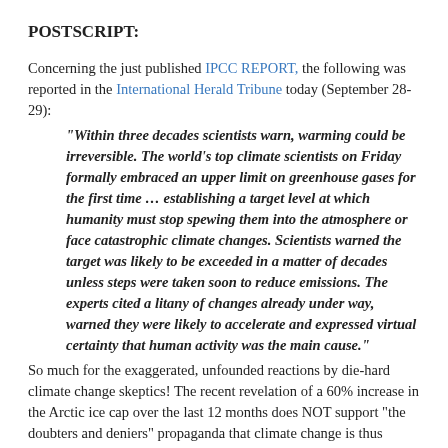POSTSCRIPT:
Concerning the just published IPCC REPORT, the following was reported in the International Herald Tribune today (September 28-29):
“Within three decades scientists warn, warming could be irreversible. The world’s top climate scientists on Friday formally embraced an upper limit on greenhouse gases for the first time … establishing a target level at which humanity must stop spewing them into the atmosphere or face catastrophic climate changes. Scientists warned the target was likely to be exceeded in a matter of decades unless steps were taken soon to reduce emissions. The experts cited a litany of changes already under way, warned they were likely to accelerate and expressed virtual certainty that human activity was the main cause.”
So much for the exaggerated, unfounded reactions by die-hard climate change skeptics! The recent revelation of a 60% increase in the Arctic ice cap over the last 12 months does NOT support “the doubters and deniers” propaganda that climate change is thus inherently NOT human caused … that it is a cycle and a fluctuation process naturally caused which has existed for millions of years!